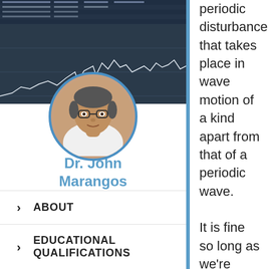[Figure (photo): Profile photo of Dr. John Marangos, a man with glasses wearing a white shirt, displayed in a circular frame with blue border. Behind is a stock market chart background.]
Dr. John Marangos
› ABOUT
› EDUCATIONAL QUALIFICATIONS
periodic disturbance that takes place in wave motion of a kind apart from that of a periodic wave.

It is fine so long as we're clear concerning the properties of the extension. So the amplitude of the wave could be issues like 1, i, -1 -i and their multiples and sums, such as